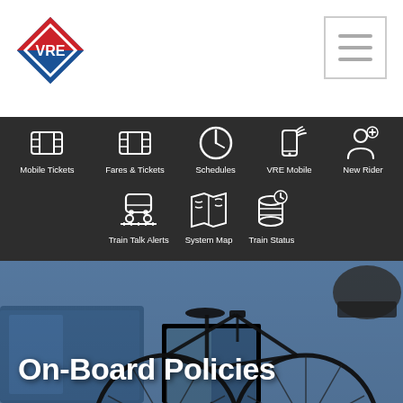[Figure (logo): VRE diamond-shaped logo with red, blue and white colors, 'VRE' text in center]
[Figure (screenshot): Hamburger menu icon (three horizontal lines) in a bordered box]
[Figure (infographic): Dark navigation menu bar with 8 icon+label items: Mobile Tickets, Fares & Tickets, Schedules, VRE Mobile, New Rider (top row), Train Talk Alerts, System Map, Train Status (bottom row). White icons on dark background.]
On-Board Policies
[Figure (photo): Photo of a bicycle leaning against blue train seats inside a VRE train car. Background shows train interior with blue seating. A helmet hangs from the bike.]